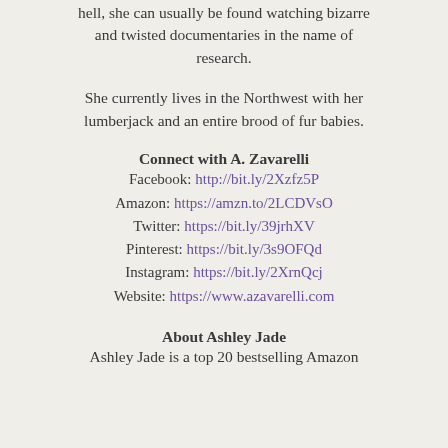hell, she can usually be found watching bizarre and twisted documentaries in the name of research.
She currently lives in the Northwest with her lumberjack and an entire brood of fur babies.
Connect with A. Zavarelli
Facebook: http://bit.ly/2Xzfz5P
Amazon: https://amzn.to/2LCDVsO
Twitter: https://bit.ly/39jrhXV
Pinterest: https://bit.ly/3s9OFQd
Instagram: https://bit.ly/2XrnQcj
Website: https://www.azavarelli.com
About Ashley Jade
Ashley Jade is a top 20 bestselling Amazon